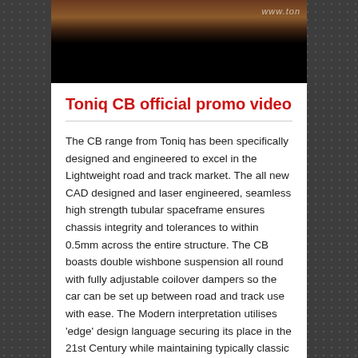[Figure (photo): Video thumbnail for Toniq CB promo video, showing a dark image with brownish upper portion and black lower portion, with a watermark text 'www.ton' visible in the upper right.]
Toniq CB official promo video
The CB range from Toniq has been specifically designed and engineered to excel in the Lightweight road and track market. The all new CAD designed and laser engineered, seamless high strength tubular spaceframe ensures chassis integrity and tolerances to within 0.5mm across the entire structure. The CB boasts double wishbone suspension all round with fully adjustable coilover dampers so the car can be set up between road and track use with ease. The Modern interpretation utilises 'edge' design language securing its place in the 21st Century while maintaining typically classic proportions of front engine, rear wheel drive British Sportscars. The CB rewards its owner with excellent response and grounded poise inspiring